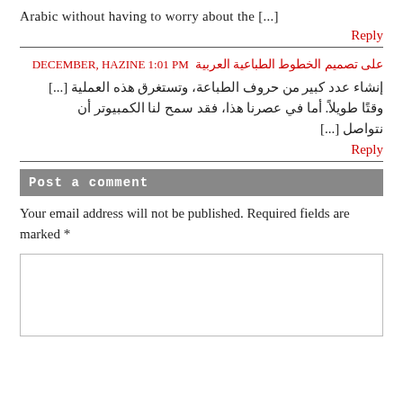Arabic without having to worry about the [...]
Reply
على تصميم الخطوط الطباعية العربية  DECEMBER, HAZINE 1:01 PM
إنشاء عدد كبير من حروف الطباعة، وتستغرق هذه العملية [...] وقتًا طويلاً. أما في عصرنا هذا، فقد سمح لنا الكمبيوتر أن نتواصل [...]
Reply
Post a comment
Your email address will not be published. Required fields are marked *